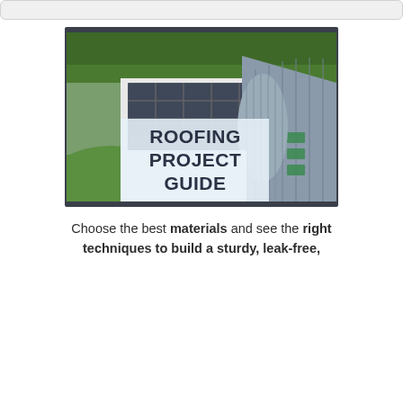[Figure (illustration): Aerial view of a house with solar panels on a flat white roof section and a metal standing-seam pitched roof. Green trees and lawn visible. Overlaid text reads ROOFING PROJECT GUIDE in large bold dark lettering on a semi-transparent white background.]
Choose the best materials and see the right techniques to build a sturdy, leak-free,